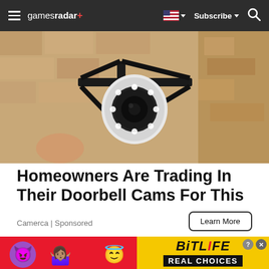gamesradar+ | Subscribe | Search
[Figure (photo): Security camera with multiple LED lights mounted on a bracket on a stone/brick wall]
Homeowners Are Trading In Their Doorbell Cams For This
Camerca | Sponsored
Learn More
[Figure (photo): People playing with a ball, partially visible]
[Figure (screenshot): BitLife game advertisement banner with emoji characters and text REAL CHOICES on red background]